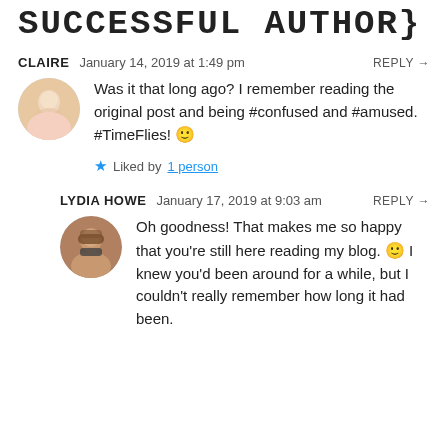SUCCESSFUL AUTHOR}
CLAIRE   January 14, 2019 at 1:49 pm   REPLY →
Was it that long ago? I remember reading the original post and being #confused and #amused. #TimeFlies! 🙂
★ Liked by 1 person
LYDIA HOWE   January 17, 2019 at 9:03 am   REPLY →
Oh goodness! That makes me so happy that you're still here reading my blog. 🙂 I knew you'd been around for a while, but I couldn't really remember how long it had been.